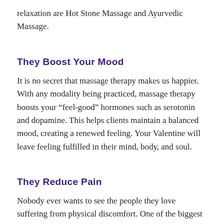relaxation are Hot Stone Massage and Ayurvedic Massage.
They Boost Your Mood
It is no secret that massage therapy makes us happier. With any modality being practiced, massage therapy boosts your “feel-good” hormones such as serotonin and dopamine. This helps clients maintain a balanced mood, creating a renewed feeling. Your Valentine will leave feeling fulfilled in their mind, body, and soul.
They Reduce Pain
Nobody ever wants to see the people they love suffering from physical discomfort. One of the biggest reasons why massage therapy is beneficial is because it relieves pain. If your Valentine has been experiencing discomfort from things such as muscle knots and tension, gifting them a